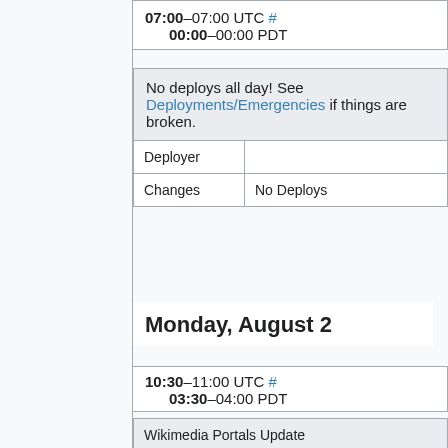07:00–07:00 UTC # / 00:00–00:00 PDT
| No deploys all day! See Deployments/Emergencies if things are broken. |
| Deployer |  |
| Changes | No Deploys |
Monday, August 2
10:30–11:00 UTC # / 03:30–04:00 PDT
| Wikimedia Portals Update |
| Deployer | Jan Drewniak (jan_drewniak) |
| Changes | Weekly window for the portals page: https://www.wikipedia.org/[#...] |